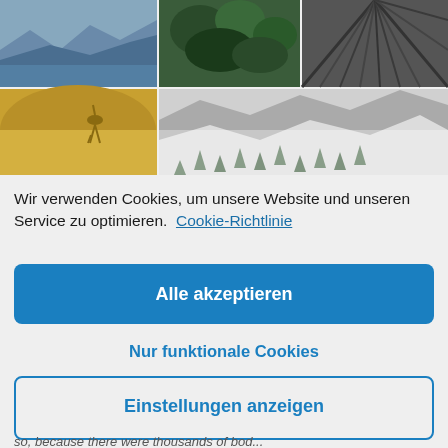[Figure (photo): Collage of nature photos: mountain landscape with lake and dry grassland with deer, green forest, dark radial pattern, foggy mountain valley with snow and conifers]
Wir verwenden Cookies, um unsere Website und unseren Service zu optimieren.  Cookie-Richtlinie
Alle akzeptieren
Nur funktionale Cookies
Einstellungen anzeigen
so, because there were thousands of bod...